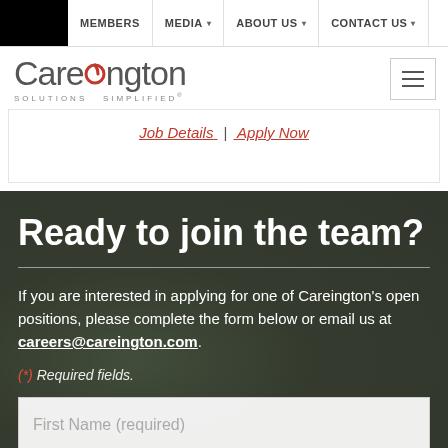MEMBERS | MEDIA | ABOUT US | CONTACT US
[Figure (logo): Careington Solutions Simplified logo with red dot accent]
Job Details | Apply Now
Ready to join the team?
If you are interested in applying for one of Careington's open positions, please complete the form below or email us at careers@careington.com.
(*) Required fields.
First Name (required)